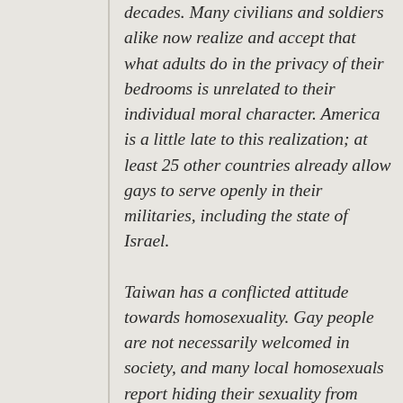decades. Many civilians and soldiers alike now realize and accept that what adults do in the privacy of their bedrooms is unrelated to their individual moral character. America is a little late to this realization; at least 25 other countries already allow gays to serve openly in their militaries, including the state of Israel.
Taiwan has a conflicted attitude towards homosexuality. Gay people are not necessarily welcomed in society, and many local homosexuals report hiding their sexuality from their relatives. But there is also almost no organized opposition to “the gay lifestyle” in Taiwan as there is in many nations. The Republic of China (R.O.C.) Armed Forces have also been somewhat ahead of the curve. Taiwan’s Defense Ministry discontinued treating